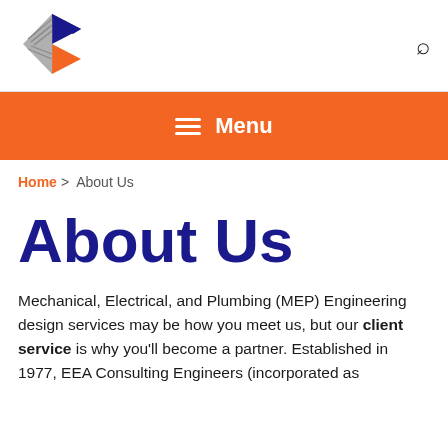[Figure (logo): EEA Consulting Engineers geometric diamond-shaped logo with blue, grey, and orange colors]
Menu
Home > About Us
About Us
Mechanical, Electrical, and Plumbing (MEP) Engineering design services may be how you meet us, but our client service is why you'll become a partner. Established in 1977, EEA Consulting Engineers (incorporated as